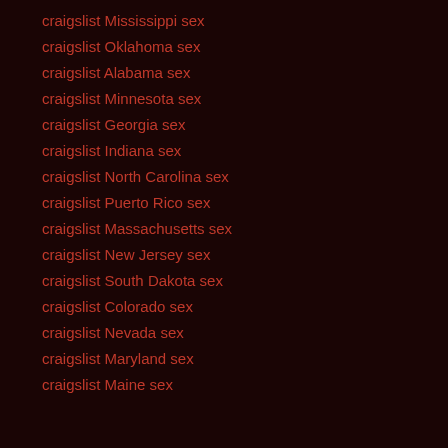craigslist Mississippi sex
craigslist Oklahoma sex
craigslist Alabama sex
craigslist Minnesota sex
craigslist Georgia sex
craigslist Indiana sex
craigslist North Carolina sex
craigslist Puerto Rico sex
craigslist Massachusetts sex
craigslist New Jersey sex
craigslist South Dakota sex
craigslist Colorado sex
craigslist Nevada sex
craigslist Maryland sex
craigslist Maine sex